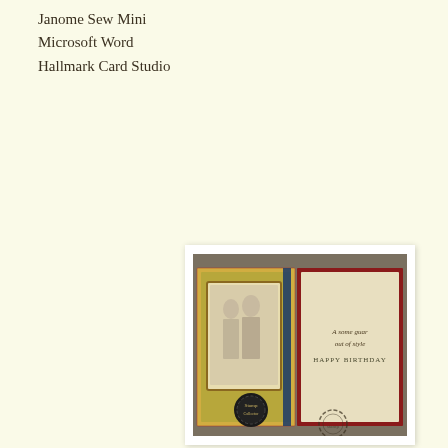Janome Sew Mini
Microsoft Word
Hallmark Card Studio
[Figure (photo): An open handmade birthday card showing the front cover (left panel) with a vintage-style image of two women in 1920s clothing on a decorative patterned background with red, green, and blue accents, and the inside (right panel) with text reading 'A some guar out of style HAPPY BIRTHDAY' on a cream background with a red border. A decorative circular stamp/label and a scalloped black badge are visible at the bottom.]